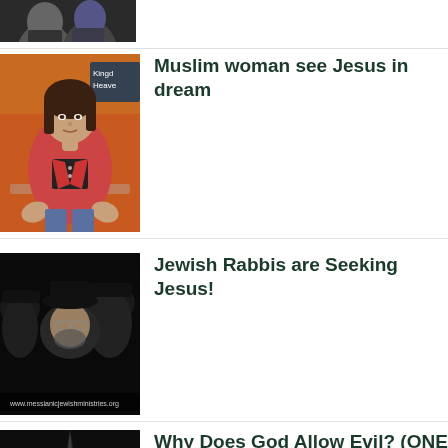[Figure (photo): Partially cropped thumbnail at the top of the page showing two people, dark background]
[Figure (photo): Woman in red/pink jacket seated, gesturing with hands, TV studio background with text 'Kingd' and 'Heave' visible]
Muslim woman see Jesus in dream
[Figure (photo): Group of Jewish men wearing black hats, dark/blurry image with website text overlay]
Jewish Rabbis are Seeking Jesus!
[Figure (photo): Dark image with large white text 'Y GOD', 'LOWS', red bar at bottom]
Why Does God Allow Evil? (ONE FOR ISRAEL Ministry )